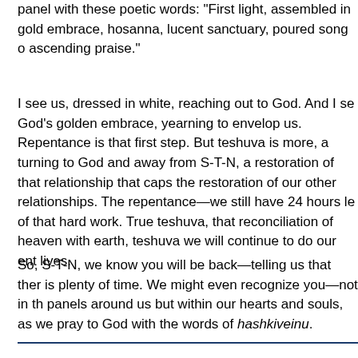panel with these poetic words: "First light, assembled in gold embrace, hosanna, lucent sanctuary, poured song o ascending praise."
I see us, dressed in white, reaching out to God. And I se God's golden embrace, yearning to envelop us. Repentance is that first step. But teshuva is more, a turning to God and away from S-T-N, a restoration of that relationship that caps the restoration of our other relationships. The repentance—we still have 24 hours le of that hard work. True teshuva, that reconciliation of heaven with earth, teshuva we will continue to do our ent lives.
So, S-T-N, we know you will be back—telling us that ther is plenty of time. We might even recognize you—not in th panels around us but within our hearts and souls, as we pray to God with the words of hashkiveinu.